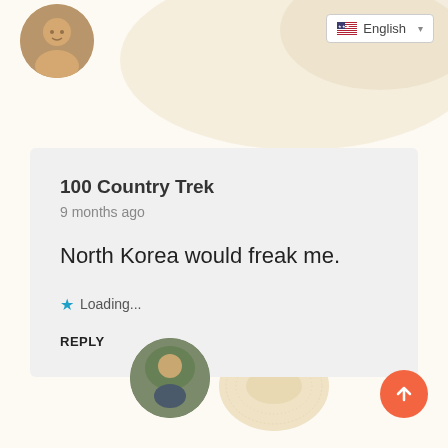[Figure (photo): Circular avatar photo of a person at the top left]
English
100 Country Trek
9 months ago
North Korea would freak me.
Loading...
REPLY
[Figure (photo): Circular avatar photo of a person at the bottom]
[Figure (illustration): Decorative gold/cream blob shape in the center-bottom]
[Figure (illustration): Orange scroll-to-top button with upward arrow]